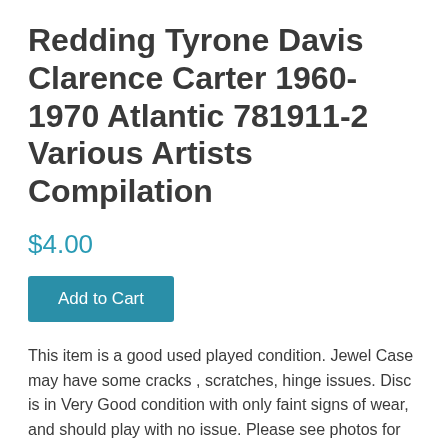Redding Tyrone Davis Clarence Carter 1960-1970 Atlantic 781911-2 Various Artists Compilation
$4.00
Add to Cart
This item is a good used played condition. Jewel Case may have some cracks , scratches, hinge issues. Disc is in Very Good condition with only faint signs of wear, and should play with no issue. Please see photos for detail and ask any questions you may have.